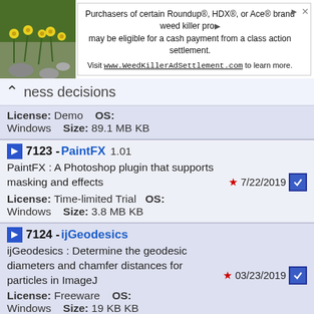[Figure (screenshot): Advertisement banner: photo of yellow flowers on left, text about Roundup/HDX/Ace brand weed killer class action settlement with URL www.WeedKillerAdSettlement.com]
ness decisions
License: Demo   OS: Windows   Size: 89.1 MB KB
7123 - PaintFX  1.01
PaintFX : A Photoshop plugin that supports masking and effects
7/22/2019
License: Time-limited Trial   OS: Windows   Size: 3.8 MB KB
7124 - ijGeodesics
ijGeodesics : Determine the geodesic diameters and chamfer distances for particles in ImageJ
03/23/2019
License: Freeware   OS: Windows   Size: 19 KB KB